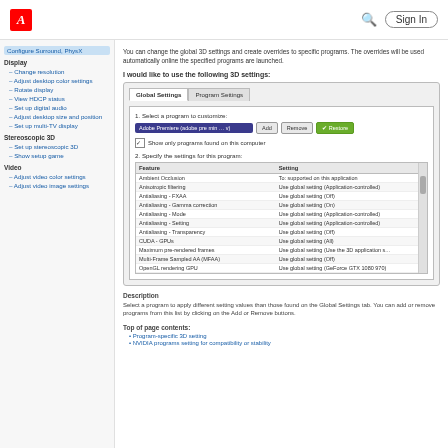Adobe — Sign In
You can change the global 3D settings and create overrides to specific programs. The overrides will be used automatically online the specified programs are launched.
I would like to use the following 3D settings:
[Figure (screenshot): NVIDIA Control Panel dialog showing Program Settings tab with a program selector (Adobe Premiere selected), Add/Remove/Restore buttons, checkbox for showing programs installed on this computer, and a feature table listing 3D settings such as Ambient Occlusion, Anisotropic filtering, Antialiasing settings, CUDA GPUs, etc. with their current setting values.]
Description
Select a program to apply different setting values than those found on the Global Settings tab. You can add or remove programs from this list by clicking on the Add or Remove buttons.
Top of page contents:
Program-specific 3D setting
NVIDIA programs setting for compatibility or stability